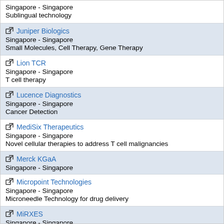Singapore - Singapore
Sublingual technology
Juniper Biologics
Singapore  - Singapore
Small Molecules, Cell Therapy, Gene Therapy
Lion TCR
Singapore - Singapore
T cell therapy
Lucence Diagnostics
Singapore - Singapore
Cancer Detection
MediSix Therapeutics
Singapore - Singapore
Novel cellular therapies to address T cell malignancies
Merck KGaA
Singapore - Singapore
Micropoint Technologies
Singapore - Singapore
Microneedle Technology for drug delivery
MiRXES
Singapore - Singapore
MiRNA research technologies
Moleac